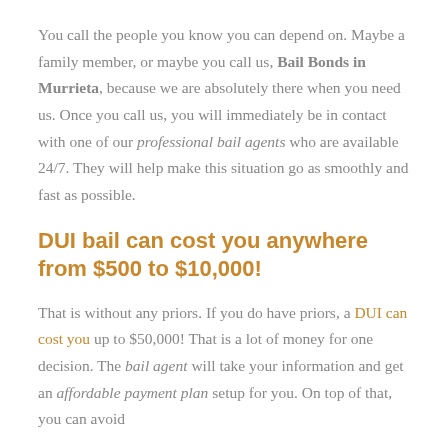You call the people you know you can depend on. Maybe a family member, or maybe you call us, Bail Bonds in Murrieta, because we are absolutely there when you need us. Once you call us, you will immediately be in contact with one of our professional bail agents who are available 24/7. They will help make this situation go as smoothly and fast as possible.
DUI bail can cost you anywhere from $500 to $10,000!
That is without any priors. If you do have priors, a DUI can cost you up to $50,000! That is a lot of money for one decision. The bail agent will take your information and get an affordable payment plan setup for you. On top of that, you can avoid